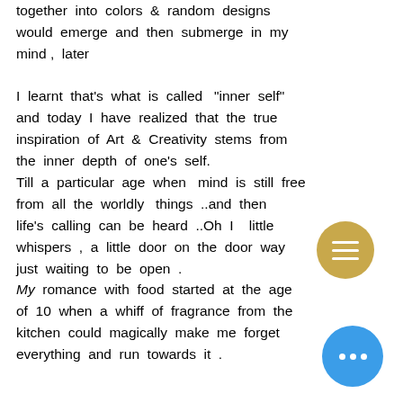together into colors & random designs would emerge and then submerge in my mind , later
I learnt that's what is called "inner self" and today I have realized that the true inspiration of Art & Creativity stems from the inner depth of one's self. Till a particular age when  mind is still free from all the worldly  things ..and then life's calling can be heard ..Oh I   little whispers , a little door on the door way just waiting to be open .
My romance with food started at the age of 10 when a whiff of fragrance from the kitchen could magically make me forget everything and run towards it .